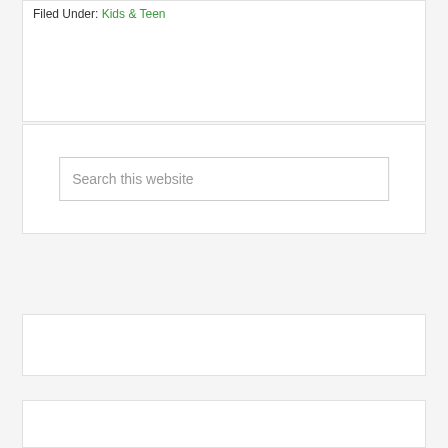Filed Under: Kids & Teen
Search this website